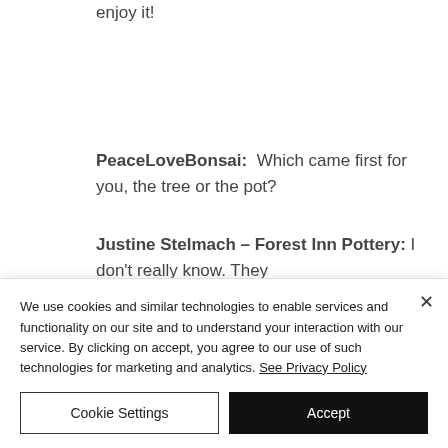enjoy it!
PeaceLoveBonsai: Which came first for you, the tree or the pot?
Justine Stelmach – Forest Inn Pottery: I don't really know. They
We use cookies and similar technologies to enable services and functionality on our site and to understand your interaction with our service. By clicking on accept, you agree to our use of such technologies for marketing and analytics. See Privacy Policy
Cookie Settings
Accept